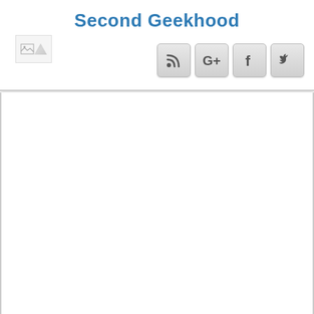Second Geekhood
[Figure (screenshot): Logo placeholder image (broken image icon)]
[Figure (screenshot): Social media icon buttons: RSS feed, Google+, Facebook, Twitter]
[Figure (photo): Large blank/advertisement image area in the content body]
Would you believe this is his first convention and first costume? Great job!
[Figure (photo): Broken image placeholder at bottom of content]